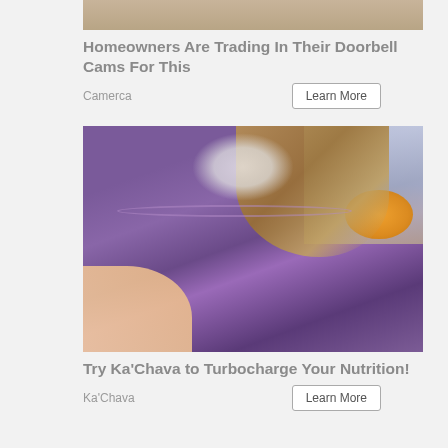[Figure (photo): Top portion of a photo showing sandy/earthy colored surface cropped at the top of the page]
Homeowners Are Trading In Their Doorbell Cams For This
Camerca
Learn More
[Figure (photo): A purple berry smoothie in a mason jar with nut butter drizzled on top, held by a hand, kitchen background with oranges]
Try Ka'Chava to Turbocharge Your Nutrition!
Ka'Chava
Learn More